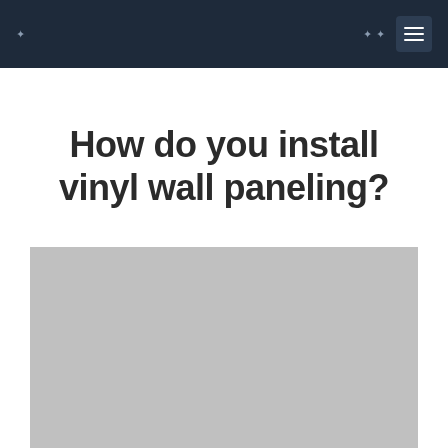How do you install vinyl wall paneling?
[Figure (photo): Large gray placeholder image representing a photo related to vinyl wall paneling installation]